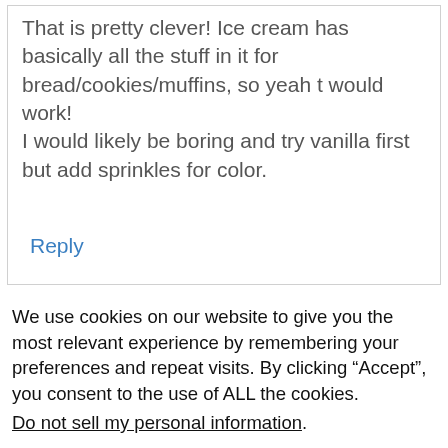That is pretty clever! Ice cream has basically all the stuff in it for bread/cookies/muffins, so yeah t would work!
I would likely be boring and try vanilla first but add sprinkles for color.
Reply
We use cookies on our website to give you the most relevant experience by remembering your preferences and repeat visits. By clicking “Accept”, you consent to the use of ALL the cookies.
Do not sell my personal information.
Settings  Accept